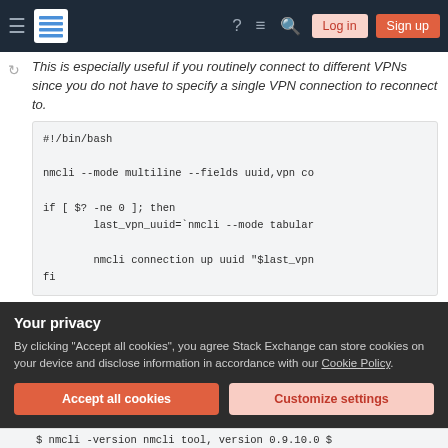Stack Exchange navigation bar with hamburger menu, logo, help, chat, search icons, Log in and Sign up buttons
This is especially useful if you routinely connect to different VPNs since you do not have to specify a single VPN connection to reconnect to.
Your privacy
By clicking "Accept all cookies", you agree Stack Exchange can store cookies on your device and disclose information in accordance with our Cookie Policy.
$ nmcli -version nmcli tool, version 0.9.10.0 $